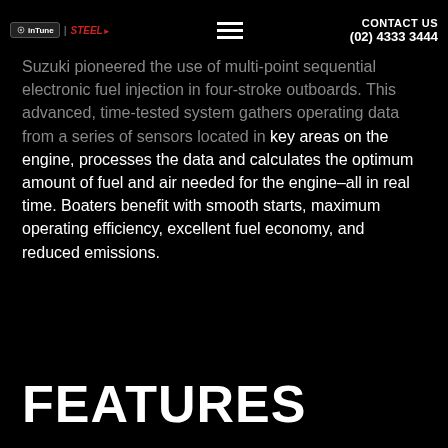inTune | STEEL - CONTACT US (02) 4333 3444
Suzuki pioneered the use of multi-point sequential electronic fuel injection in four-stroke outboards. This advanced, time-tested system gathers operating data from a series of sensors located in key areas on the engine, processes the data and calculates the optimum amount of fuel and air needed for the engine–all in real time. Boaters benefit with smooth starts, maximum operating efficiency, excellent fuel economy, and reduced emissions.
FEATURES